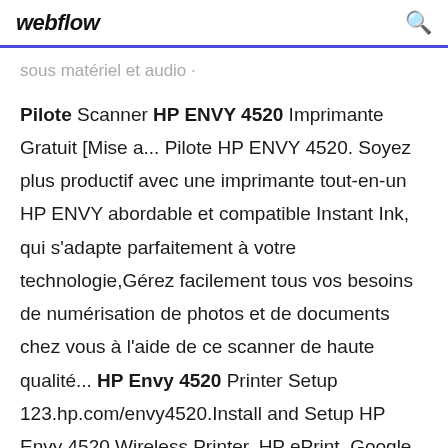webflow
sous matériel et audio ·
Pilote Scanner HP ENVY 4520 Imprimante Gratuit [Mise a... Pilote HP ENVY 4520. Soyez plus productif avec une imprimante tout-en-un HP ENVY abordable et compatible Instant Ink, qui s'adapte parfaitement à votre technologie,Gérez facilement tous vos besoins de numérisation de photos et de documents chez vous à l'aide de ce scanner de haute qualité... HP Envy 4520 Printer Setup 123.hp.com/envy4520.Install and Setup HP Envy 4520 Wireless Printer, HP ePrint, Google Cloud Print & AirPrint.You can Register your device under New devices, where your HP Envy 4520